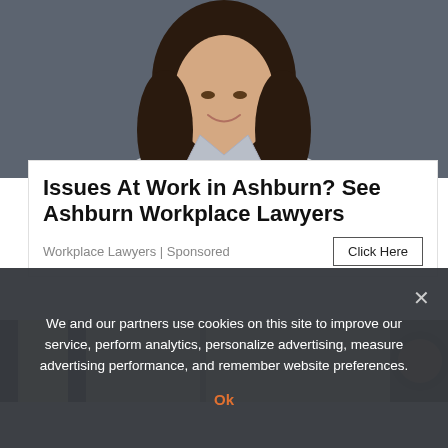[Figure (photo): Professional woman with long dark hair, smiling, wearing a light grey blazer, against a dark grey background]
Issues At Work in Ashburn? See Ashburn Workplace Lawyers
Workplace Lawyers | Sponsored
[Figure (photo): Partial image of green and yellow tones, partially obscured by overlay]
We and our partners use cookies on this site to improve our service, perform analytics, personalize advertising, measure advertising performance, and remember website preferences.
Ok